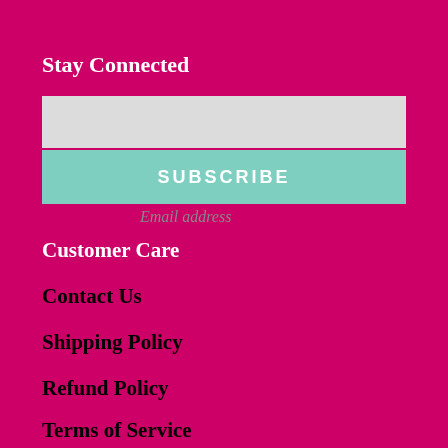Stay Connected
Email address
SUBSCRIBE
Customer Care
Contact Us
Shipping Policy
Refund Policy
Terms of Service